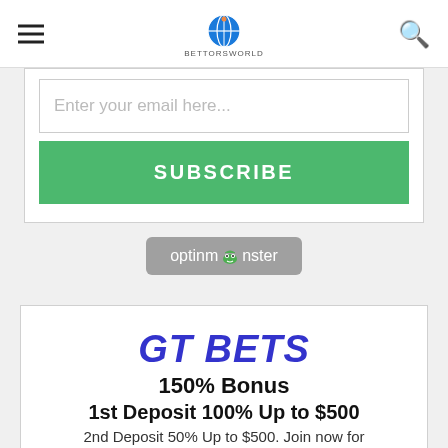BettorsWorld logo header with hamburger menu and search icon
Enter your email here...
SUBSCRIBE
[Figure (logo): OptinMonster logo button - grey pill shaped button with 'optinmonster' text and monster icon]
GT BETS
150% Bonus
1st Deposit 100% Up to $500
2nd Deposit 50% Up to $500. Join now for